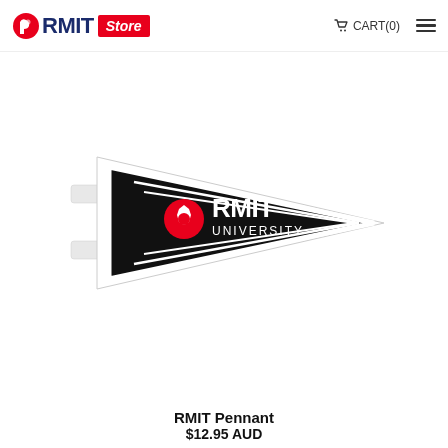RMIT Store — CART(0)
[Figure (photo): RMIT University black pennant flag with white border stripes and RMIT University logo on a white background]
RMIT Pennant
$12.95 AUD